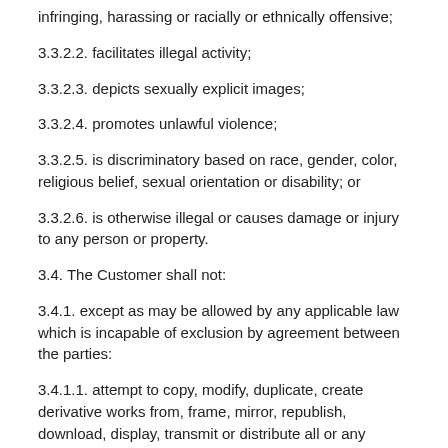infringing, harassing or racially or ethnically offensive;
3.3.2.2. facilitates illegal activity;
3.3.2.3. depicts sexually explicit images;
3.3.2.4. promotes unlawful violence;
3.3.2.5. is discriminatory based on race, gender, color, religious belief, sexual orientation or disability; or
3.3.2.6. is otherwise illegal or causes damage or injury to any person or property.
3.4. The Customer shall not:
3.4.1. except as may be allowed by any applicable law which is incapable of exclusion by agreement between the parties:
3.4.1.1. attempt to copy, modify, duplicate, create derivative works from, frame, mirror, republish, download, display, transmit or distribute all or any portion of the Software and/or Documentation (as applicable) in any form or media or by any means (except to